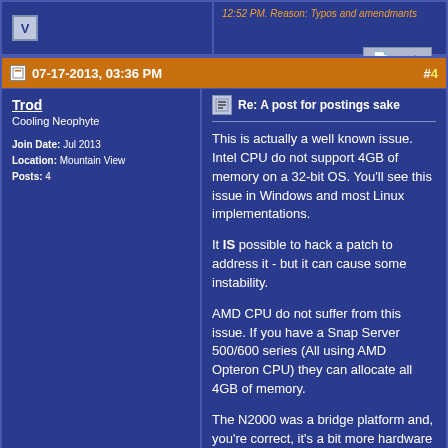12:52 PM. Reason: Typos and amendmants
[Figure (logo): V icon square logo]
quote button
07-17-2013, 03:36 PM  #4
Trod
Cooling Neophyte
Join Date: Jul 2013
Location: Mountain View
Posts: 4
Re: A post for postings sake
This is actually a well known issue. Intel CPU do not support 4GB of memory on a 32-bit OS. You'll see this issue in Windows and most Linux implementations.

It IS possible to hack a patch to address it - but it can cause some instability.

AMD CPU do not suffer from this issue. If you have a Snap Server 500/600 series (All using AMD Opteron CPU) they can allocate all 4GB of memory.

The N2000 was a bridge platform and, you're correct, it's a bit more hardware than GOS was able to fully utilize at the time of release. Initially they were released with 2GB of RAM and had no 'official' upgrade path. Later revisions shipped with 4GB of RAM.